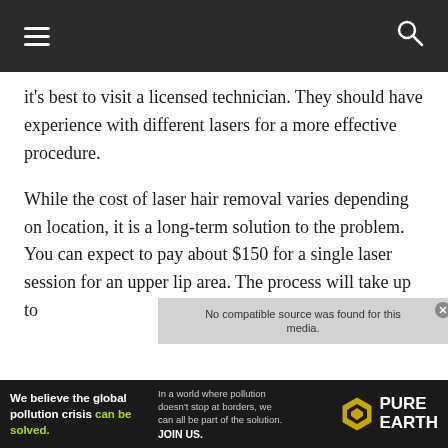Navigation bar with menu and search icons
it's best to visit a licensed technician. They should have experience with different lasers for a more effective procedure.
While the cost of laser hair removal varies depending on location, it is a long-term solution to the problem. You can expect to pay about $150 for a single laser session for an upper lip area. The process will take up to
[Figure (screenshot): Video overlay message: No compatible source was found for this media.]
We believe the global pollution crisis can be solved. In a world where pollution doesn't stop at borders, we can all be part of the solution. JOIN US. PURE EARTH